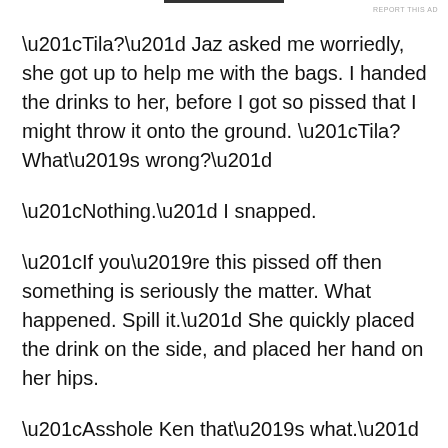REPORT THIS AD
“Tila?” Jaz asked me worriedly, she got up to help me with the bags. I handed the drinks to her, before I got so pissed that I might throw it onto the ground. “Tila? What’s wrong?”
“Nothing.” I snapped.
“If you’re this pissed off then something is seriously the matter. What happened. Spill it.” She quickly placed the drink on the side, and placed her hand on her hips.
“Asshole Ken that’s what.” I snarled. Seline was whimpering in the corner of my mind, not even